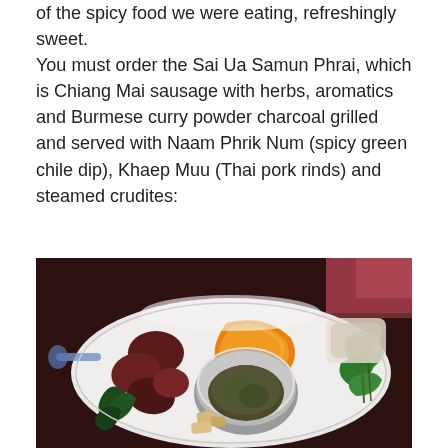of the spicy food we were eating, refreshingly sweet.
You must order the Sai Ua Samun Phrai, which is Chiang Mai sausage with herbs, aromatics and Burmese curry powder charcoal grilled and served with Naam Phrik Num (spicy green chile dip), Khaep Muu (Thai pork rinds) and steamed crudites:
[Figure (photo): A white oval serving plate with Thai food including Sai Ua sausage (dark reddish-brown pieces), a slice of orange pumpkin/squash, a small metal bowl containing Naam Phrik Num green chile dip, pork rinds, dark green steamed vegetables, and fresh herbs/leaves, photographed from above in dim restaurant lighting.]